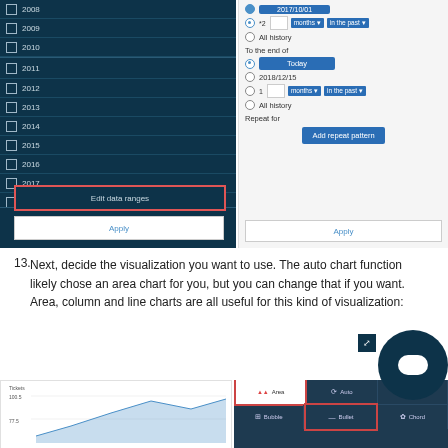[Figure (screenshot): Left panel showing dark teal year list (2008-2018) with checkboxes, Edit data ranges button highlighted with red border, and Apply button. Right panel showing date filter UI with radio buttons, date inputs, months dropdowns, All history options, Today button, To the end of section, Repeat for section, Add repeat pattern button, and Apply button.]
13. Next, decide the visualization you want to use. The auto chart function likely chose an area chart for you, but you can change that if you want. Area, column and line charts are all useful for this kind of visualization:
[Figure (screenshot): Bottom left shows a partial chart with Tickets label and values 100.5 and 77.5. Bottom right shows chart type selection UI on dark background with Area (selected, white box with red border), Auto, and other options including Bubble, Bullet, Chord in second row.]